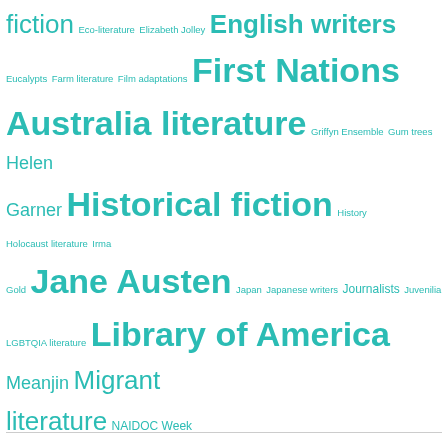[Figure (infographic): Tag cloud of literary topics and authors in teal/turquoise color, with varying font sizes indicating frequency/prominence. Tags include: fiction, Eco-literature, Elizabeth Jolley, English writers, Eucalypts, Farm literature, Film adaptations, First Nations Australia literature, Griffyn Ensemble, Gum trees, Helen Garner, Historical fiction, History, Holocaust literature, Irma Gold, Jane Austen, Japan, Japanese writers, Journalists, Juvenilia, LGBTQIA literature, Library of America, Meanjin, Migrant literature, NAIDOC Week, National Library of Australia, Nature writing, New releases, Nigel Featherstone, Non-fiction, November, Novellas, Obituaries, Poetry, Publishers, Publishing, Racism, Satire, Shadow Man Asian Literary Prize 2011, Short stories, Six degrees of separation, Sydney Writers Festival, Thea Astley, Tournament of Books, Translated works, Travel writing, War literature, World War 2]